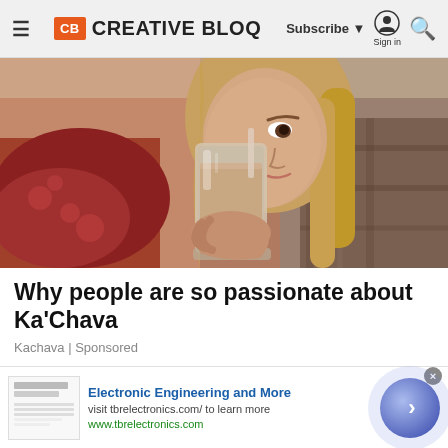CB CREATIVE BLOQ | Subscribe | Sign in
[Figure (photo): A woman with long blonde hair drinking from a large glass mason jar filled with a creamy brown smoothie drink, reclining on colorful pillows]
Why people are so passionate about Ka'Chava
Kachava | Sponsored
[Figure (screenshot): Advertisement banner for Electronic Engineering and More - visit tbrelectronics.com/ to learn more. www.tbrelectronics.com. Thumbnail showing a browser 'No Longer Supported' message. Blue arrow CTA button on right.]